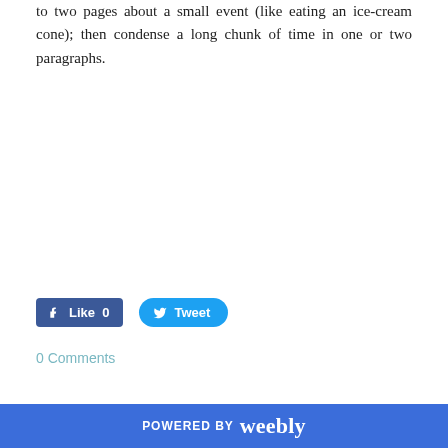to two pages about a small event (like eating an ice-cream cone); then condense a long chunk of time in one or two paragraphs.
[Figure (other): Facebook Like button showing count 0]
[Figure (other): Twitter Tweet button]
0 Comments
Sharing Writing With Loved
POWERED BY weebly